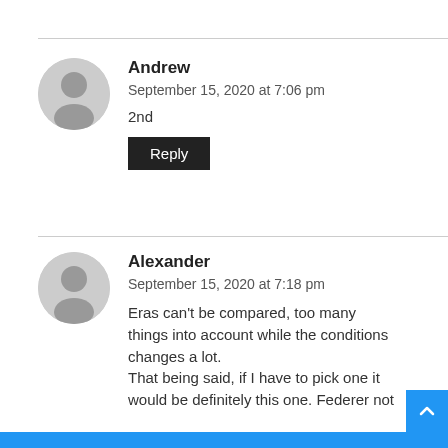Andrew
September 15, 2020 at 7:06 pm
2nd
Reply
Alexander
September 15, 2020 at 7:18 pm
Eras can't be compared, too many things into account while the conditions changes a lot.
That being said, if I have to pick one it would be definitely this one. Federer not